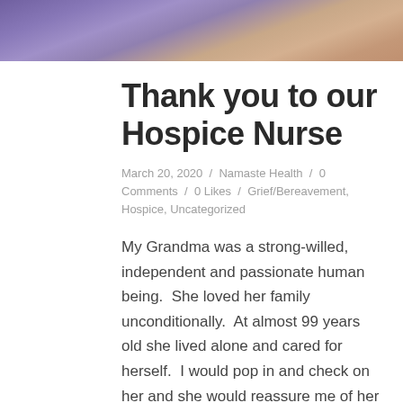[Figure (photo): Partial photo of a person wearing colorful purple/blue patterned clothing, cropped at top of page]
Thank you to our Hospice Nurse
March 20, 2020 / Namaste Health / 0 Comments / 0 Likes / Grief/Bereavement, Hospice, Uncategorized
My Grandma was a strong-willed, independent and passionate human being.  She loved her family unconditionally.  At almost 99 years old she lived alone and cared for herself.  I would pop in and check on her and she would reassure me of her independence and ability to care for herself.  I remember looking at a blood...